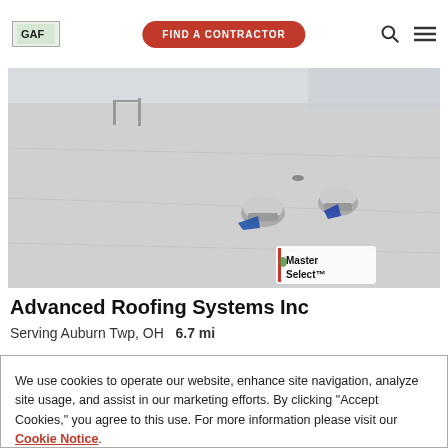GAF | FIND A CONTRACTOR
[Figure (photo): Aerial view of a flat commercial roof with HVAC vents/ducts and a Master Select™ logo overlay in the lower right corner]
Advanced Roofing Systems Inc
Serving Auburn Twp, OH   6.7 mi
We use cookies to operate our website, enhance site navigation, analyze site usage, and assist in our marketing efforts. By clicking "Accept Cookies," you agree to this use. For more information please visit our Cookie Notice.
Cookie Preferences | Accept Cookies